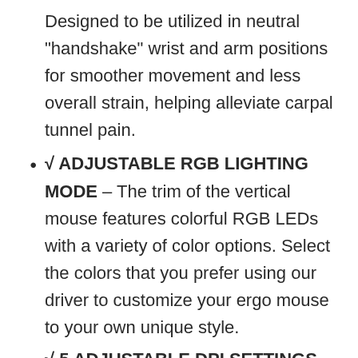Designed to be utilized in neutral "handshake" wrist and arm positions for smoother movement and less overall strain, helping alleviate carpal tunnel pain.
√ ADJUSTABLE RGB LIGHTING MODE – The trim of the vertical mouse features colorful RGB LEDs with a variety of color options. Select the colors that you prefer using our driver to customize your ergo mouse to your own unique style.
√ 5 ADJUSTABLE DPI SETTINGS –